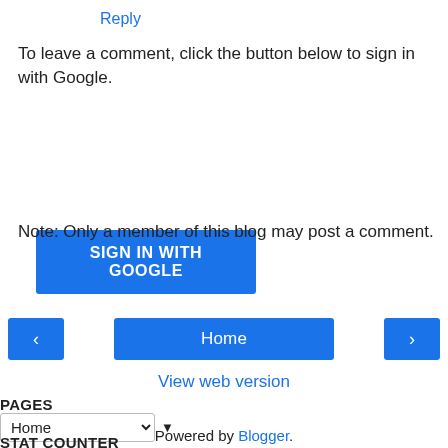Reply
To leave a comment, click the button below to sign in with Google.
[Figure (other): SIGN IN WITH GOOGLE button — blue rectangular button with white bold uppercase text]
Note: Only a member of this blog may post a comment.
[Figure (other): Navigation row with left arrow button, Home button, and right arrow button — all blue]
View web version
PAGES
Home (dropdown select with arrow)
STAT COUNTER
Powered by Blogger.